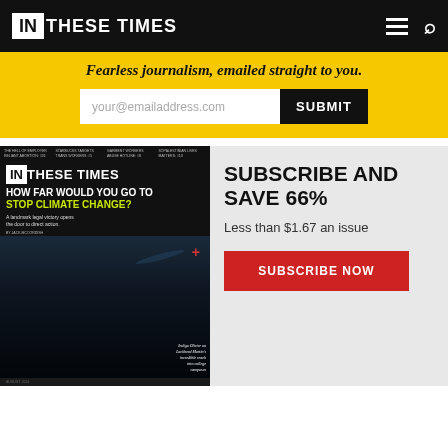IN THESE TIMES
Fearless journalism, emailed straight to you.
your@emailaddress.com  SUBMIT
[Figure (screenshot): In These Times magazine cover: HOW FAR WOULD YOU GO TO STOP CLIMATE CHANGE? with activist on road imagery]
SUBSCRIBE AND SAVE 66%
Less than $1.67 an issue
SUBSCRIBE NOW